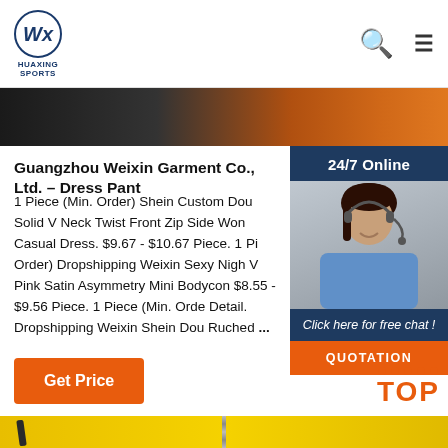HUAXING SPORTS
[Figure (photo): Top banner image showing dark background with orange accent]
Guangzhou Weixin Garment Co., Ltd. – Dress Pant
1 Piece (Min. Order) Shein Custom Dou Solid V Neck Twist Front Zip Side Won Casual Dress. $9.67 - $10.67 Piece. 1 Pi Order) Dropshipping Weixin Sexy Nigh V Pink Satin Asymmetry Mini Bodycon $8.55 - $9.56 Piece. 1 Piece (Min. Orde Detail. Dropshipping Weixin Shein Dou Ruched ...
[Figure (photo): Chat widget with woman wearing headset and 24/7 Online label, Click here for free chat, QUOTATION button]
[Figure (other): Get Price orange button]
[Figure (photo): Bottom image showing yellow fabric with zipper]
[Figure (other): TOP button with orange dots and text in bottom right]